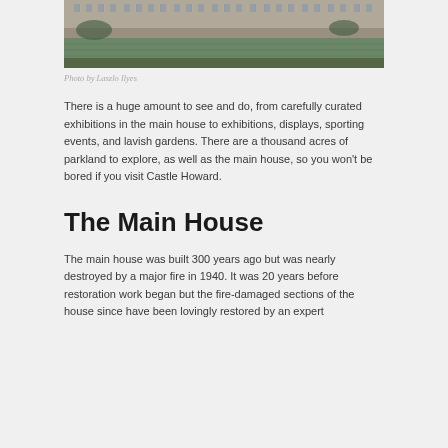[Figure (photo): Aerial or elevated view of Castle Howard with water feature/fountain in foreground, historic stone building facade visible in background]
Photo by Laszlo Ilyes
There is a huge amount to see and do, from carefully curated exhibitions in the main house to exhibitions, displays, sporting events, and lavish gardens. There are a thousand acres of parkland to explore, as well as the main house, so you won't be bored if you visit Castle Howard.
The Main House
The main house was built 300 years ago but was nearly destroyed by a major fire in 1940. It was 20 years before restoration work began but the fire-damaged sections of the house since have been lovingly restored by an expert